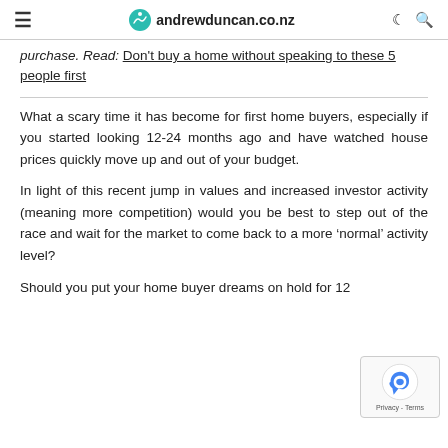≡  andrewduncan.co.nz  ☾  🔍
purchase. Read: Don't buy a home without speaking to these 5 people first
What a scary time it has become for first home buyers, especially if you started looking 12-24 months ago and have watched house prices quickly move up and out of your budget.
In light of this recent jump in values and increased investor activity (meaning more competition) would you be best to step out of the race and wait for the market to come back to a more 'normal' activity level?
Should you put your home buyer dreams on hold for 12